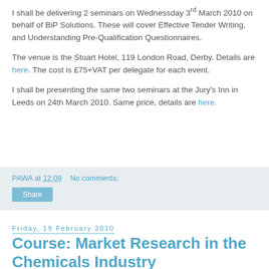I shall be delivering 2 seminars on Wednessday 3rd March 2010 on behalf of BiP Solutions. These will cover Effective Tender Writing, and Understanding Pre-Qualification Questionnaires.
The venue is the Stuart Hotel, 119 London Road, Derby. Details are here. The cost is £75+VAT per delegate for each event.
I shall be presenting the same two seminars at the Jury's Inn in Leeds on 24th March 2010. Same price, details are here.
PAWA at 12:09    No comments:
Share
Friday, 19 February 2010
Course: Market Research in the Chemicals Industry